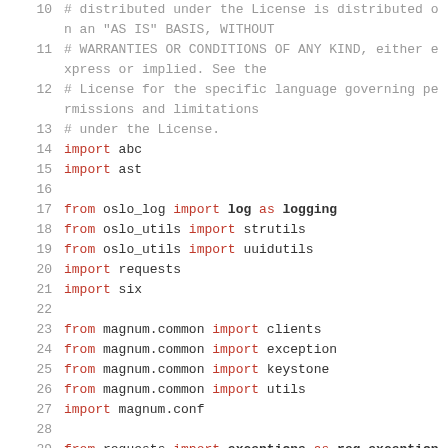Code listing lines 10-29: Python source file with imports
10: # distributed under the License is distributed on an "AS IS" BASIS, WITHOUT
11: # WARRANTIES OR CONDITIONS OF ANY KIND, either express or implied. See the
12: # License for the specific language governing permissions and limitations
13: # under the License.
14: import abc
15: import ast
16: (blank)
17: from oslo_log import log as logging
18: from oslo_utils import strutils
19: from oslo_utils import uuidutils
20: import requests
21: import six
22: (blank)
23: from magnum.common import clients
24: from magnum.common import exception
25: from magnum.common import keystone
26: from magnum.common import utils
27: import magnum.conf
28: (blank)
29: from requests import exceptions as req_exception